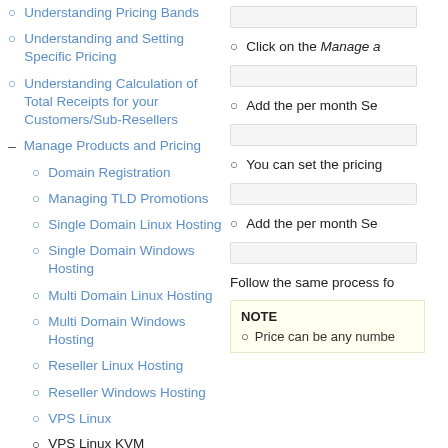Understanding Pricing Bands
Understanding and Setting Specific Pricing
Understanding Calculation of Total Receipts for your Customers/Sub-Resellers
Manage Products and Pricing
Domain Registration
Managing TLD Promotions
Single Domain Linux Hosting
Single Domain Windows Hosting
Multi Domain Linux Hosting
Multi Domain Windows Hosting
Reseller Linux Hosting
Reseller Windows Hosting
VPS Linux
VPS Linux KVM
Click on the Manage a
Add the per month Se
You can set the pricing
Add the per month Se
Follow the same process fo
NOTE
Price can be any numbe